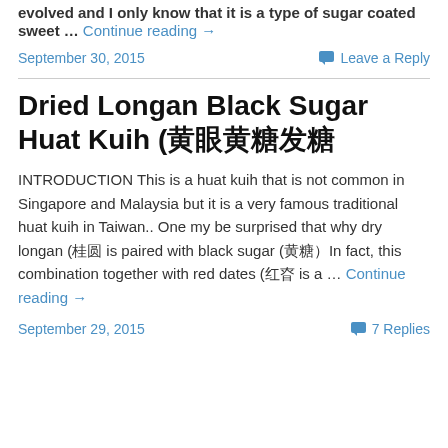evolved and I only know that it is a type of sugar coated sweet … Continue reading →
September 30, 2015   Leave a Reply
Dried Longan Black Sugar Huat Kuih (龙眼黑糖发糕
INTRODUCTION This is a huat kuih that is not common in Singapore and Malaysia but it is a very famous traditional huat kuih in Taiwan.. One my be surprised that why dry longan (桂圆 is paired with black sugar (黑糖）In fact, this combination together with red dates (红枣 is a … Continue reading →
September 29, 2015   7 Replies